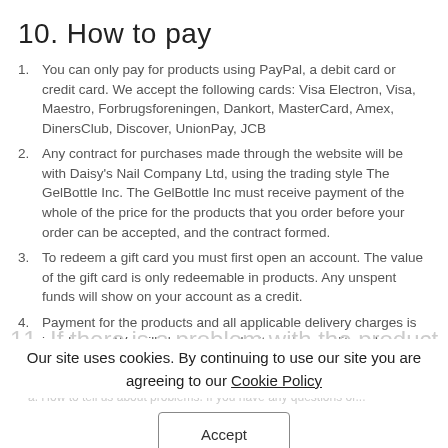10. How to pay
You can only pay for products using PayPal, a debit card or credit card. We accept the following cards: Visa Electron, Visa, Maestro, Forbrugsforeningen, Dankort, MasterCard, Amex, DinersClub, Discover, UnionPay, JCB
Any contract for purchases made through the website will be with Daisy's Nail Company Ltd, using the trading style The GelBottle Inc. The GelBottle Inc must receive payment of the whole of the price for the products that you order before your order can be accepted, and the contract formed.
To redeem a gift card you must first open an account. The value of the gift card is only redeemable in products. Any unspent funds will show on your account as a credit.
Payment for the products and all applicable delivery charges is in advance. We will charge your debit card or credit card...
Our site uses cookies. By continuing to use our site you are agreeing to our Cookie Policy
11. If there is a problem with the product
a. How to tell us about problems. If you have any questions or...